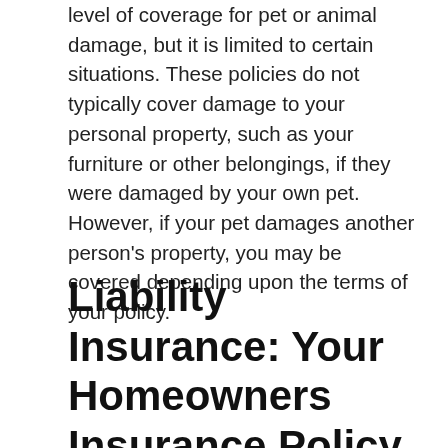level of coverage for pet or animal damage, but it is limited to certain situations. These policies do not typically cover damage to your personal property, such as your furniture or other belongings, if they were damaged by your own pet. However, if your pet damages another person's property, you may be covered depending upon the terms of your policy.
Liability Insurance: Your Homeowners Insurance Policy and Animal Damage